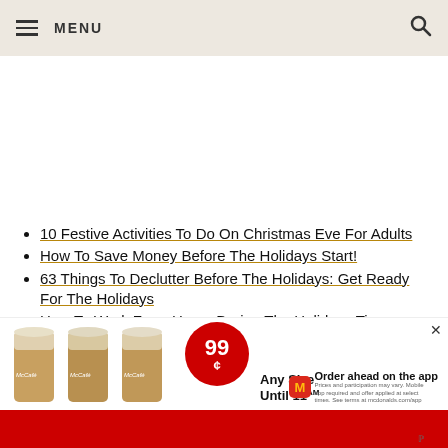MENU
10 Festive Activities To Do On Christmas Eve For Adults
How To Save Money Before The Holidays Start!
63 Things To Declutter Before The Holidays: Get Ready For The Holidays
How To Work From Home During The Holidays Tips
12 Couple Activities for New Years Eve
St... ntia'
[Figure (screenshot): McDonald's McCafe advertisement banner showing three iced coffee drinks with 99¢ any size until 11AM promotional offer and order ahead on the app message]